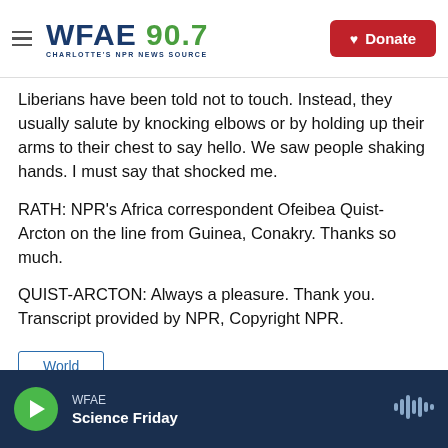WFAE 90.7 CHARLOTTE'S NPR NEWS SOURCE — Donate
Liberians have been told not to touch. Instead, they usually salute by knocking elbows or by holding up their arms to their chest to say hello. We saw people shaking hands. I must say that shocked me.
RATH: NPR's Africa correspondent Ofeibea Quist-Arcton on the line from Guinea, Conakry. Thanks so much.
QUIST-ARCTON: Always a pleasure. Thank you. Transcript provided by NPR, Copyright NPR.
World
WFAE — Science Friday